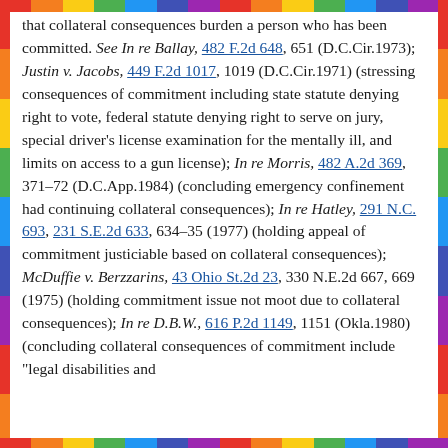that collateral consequences burden a person who has been committed. See In re Ballay, 482 F.2d 648, 651 (D.C.Cir.1973); Justin v. Jacobs, 449 F.2d 1017, 1019 (D.C.Cir.1971) (stressing consequences of commitment including state statute denying right to vote, federal statute denying right to serve on jury, special driver's license examination for the mentally ill, and limits on access to a gun license); In re Morris, 482 A.2d 369, 371-72 (D.C.App.1984) (concluding emergency confinement had continuing collateral consequences); In re Hatley, 291 N.C. 693, 231 S.E.2d 633, 634-35 (1977) (holding appeal of commitment justiciable based on collateral consequences); McDuffie v. Berzzarins, 43 Ohio St.2d 23, 330 N.E.2d 667, 669 (1975) (holding commitment issue not moot due to collateral consequences); In re D.B.W., 616 P.2d 1149, 1151 (Okla.1980) (concluding collateral consequences of commitment include "legal disabilities and